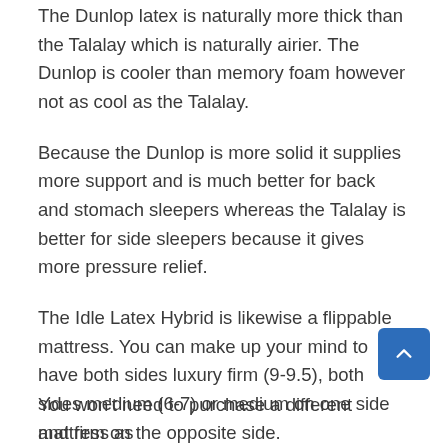The Dunlop latex is naturally more thick than the Talalay which is naturally airier. The Dunlop is cooler than memory foam however not as cool as the Talalay.
Because the Dunlop is more solid it supplies more support and is much better for back and stomach sleepers whereas the Talalay is better for side sleepers because it gives more pressure relief.
The Idle Latex Hybrid is likewise a flippable mattress. You can make up your mind to have both sides luxury firm (9-9.5), both sides medium (6-7) or medium on one side and firm on the opposite side.
You won't need to purchase a different mattress as